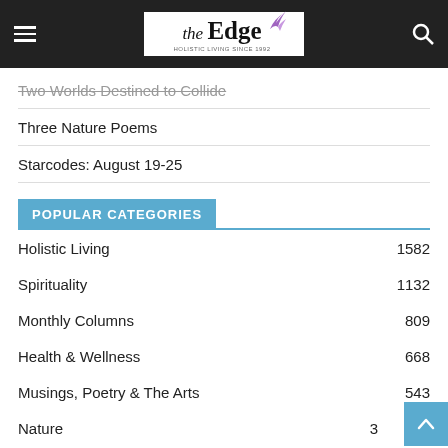the Edge — Holistic Living Since 1992
Two Worlds Destined to Collide
Three Nature Poems
Starcodes: August 19-25
POPULAR CATEGORIES
| Category | Count |
| --- | --- |
| Holistic Living | 1582 |
| Spirituality | 1132 |
| Monthly Columns | 809 |
| Health & Wellness | 668 |
| Musings, Poetry & The Arts | 543 |
| Nature | 3… |